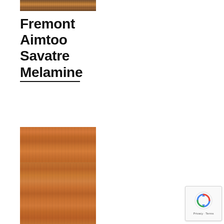[Figure (photo): Narrow horizontal strip showing wood grain texture in dark brown tones, positioned at top left]
Fremont Aimtoo Savatre Melamine
[Figure (photo): Large vertical panel showing medium cherry/amber wood grain texture with a horizontal seam dividing it into upper and lower sections]
[Figure (other): reCAPTCHA badge with circular arrows icon and Privacy · Terms text]